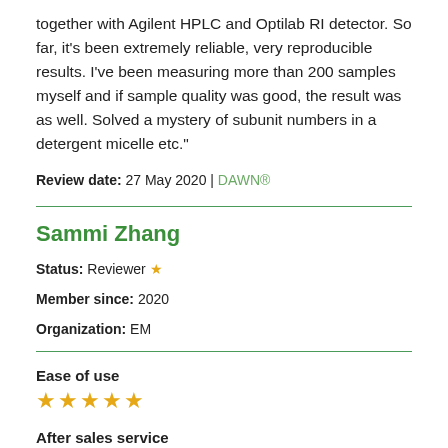together with Agilent HPLC and Optilab RI detector. So far, it's been extremely reliable, very reproducible results. I've been measuring more than 200 samples myself and if sample quality was good, the result was as well. Solved a mystery of subunit numbers in a detergent micelle etc."
Review date: 27 May 2020 | DAWN®
Sammi Zhang
Status: Reviewer ★
Member since: 2020
Organization: EM
Ease of use
★★★★★
After sales service